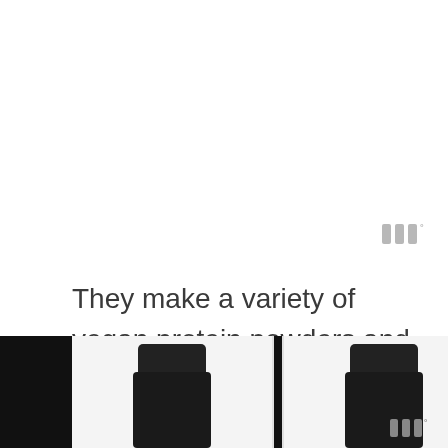[Figure (logo): Watermark logo with three vertical bars and a degree symbol in gray, top right area]
They make a variety of vegan protein powders and supplements (e.g. vitamins, minerals) that are all certified vegan, non-gmo, and organic. They are also all gluten-free and soy-free (but not certified).
[Figure (photo): Bottom strip showing tops of three product bottles/containers against dark background: two dark/black containers and one with green label, partially cropped at bottom of page. Watermark logo with three bars and degree symbol in gray at bottom right.]